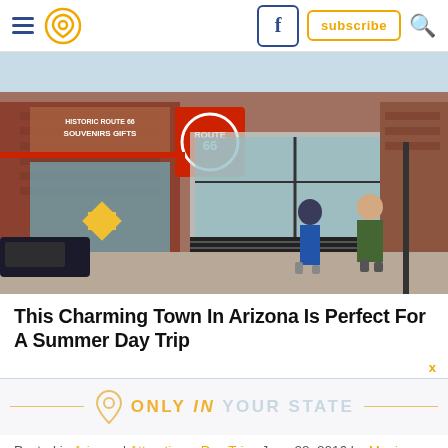Navigation header with hamburger menu, location pin logo, Facebook button, subscribe button, search icon
[Figure (photo): Street-level photo of a charming downtown strip with brick storefronts, Route 66 signage, large glass windows, and two pedestrians walking on the sidewalk]
This Charming Town In Arizona Is Perfect For A Summer Day Trip
[Figure (logo): Only In Your State logo with location pin icon and decorative horizontal lines]
Posted in Arizona | Attractions, Day Trips June 22, 2016 by Monica